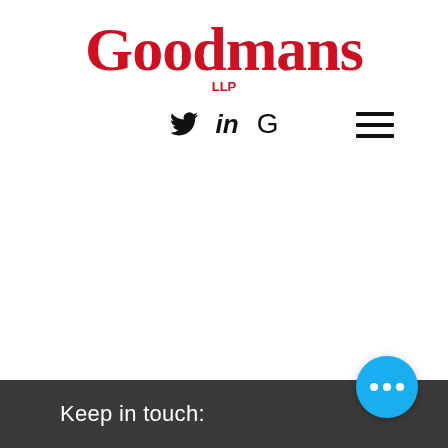[Figure (logo): Goodmans LLP law firm logo in red serif font with social media icons (Twitter, LinkedIn, Google) below]
[Figure (other): Hamburger menu icon (three horizontal lines) in top right area]
Keep in touch:
[Figure (other): Blue circular chat/more options button with three white dots]